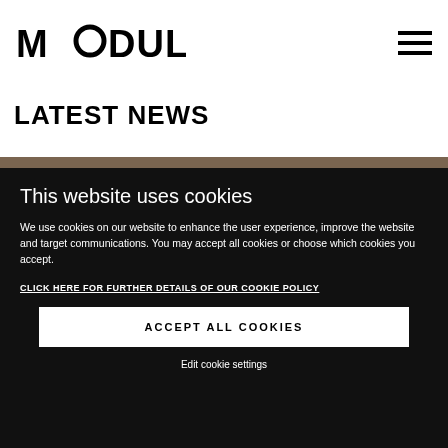[Figure (logo): MODULE logo in bold black text with stylized circle in the letter O]
[Figure (other): Hamburger menu icon with three horizontal lines]
LATEST NEWS
This website uses cookies
We use cookies on our website to enhance the user experience, improve the website and target communications. You may accept all cookies or choose which cookies you accept.
CLICK HERE FOR FURTHER DETAILS OF OUR COOKIE POLICY
ACCEPT ALL COOKIES
Edit cookie settings